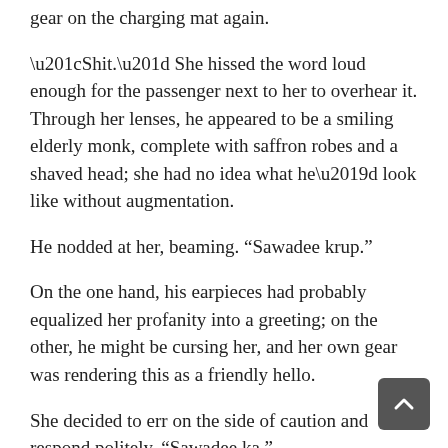gear on the charging mat again.
“Shit.” She hissed the word loud enough for the passenger next to her to overhear it. Through her lenses, he appeared to be a smiling elderly monk, complete with saffron robes and a shaved head; she had no idea what he’d look like without augmentation.
He nodded at her, beaming. “Sawadee krup.”
On the one hand, his earpieces had probably equalized her profanity into a greeting; on the other, he might be cursing her, and her own gear was rendering this as a friendly hello.
She decided to err on the side of caution and respond politely. “Sawadee ka.”
The man wrinkled his brow, muttered under his breath, and turned his back to her. Regardless of what she’d actually said, his version of their interaction must have been